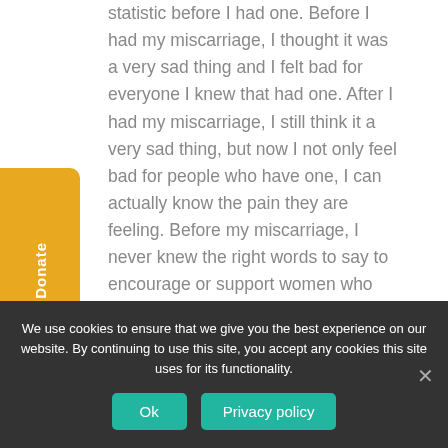statistic before I had one. Before I had my miscarriage, I thought it was a very sad thing and I felt bad for everyone I knew that had one. After I had my miscarriage, I still think it a very sad thing, but now I not only feel bad for people who have one, I can actually know the pain they are feeling. Before my miscarriage, I never knew the right words to say to encourage or support women who had one. After my miscarriage, I now just sit and cry with women who had one.

So even though 1 in 4 women have this in
We use cookies to ensure that we give you the best experience on our website. By continuing to use this site, you accept any cookies this site uses for its functionality.